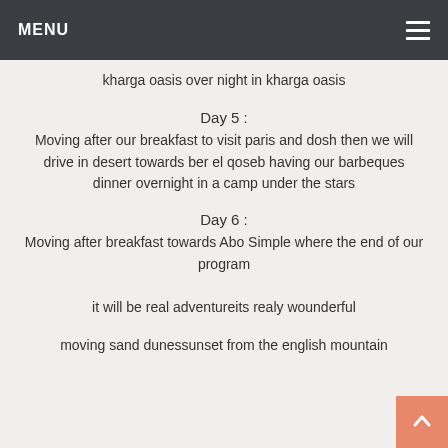MENU
kharga oasis over night in kharga oasis
Day 5 :
Moving after our breakfast to visit paris and dosh then we will drive in desert towards ber el qoseb having our barbeques dinner overnight in a camp under the stars
Day 6 :
Moving after breakfast towards Abo Simple where the end of our program
it will be real adventureits realy wounderful
moving sand dunessunset from the english mountain